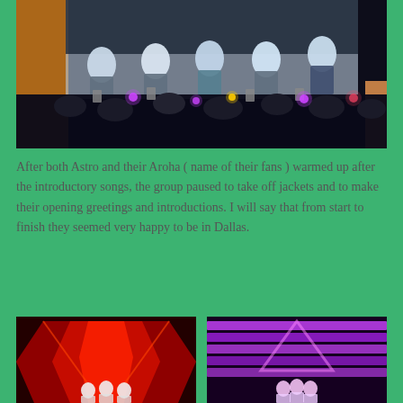[Figure (photo): Concert photo of a K-pop group (Astro) on stage in light blue outfits performing, with a large crowd holding up phones and light sticks (purple glowing) in the foreground. A large colorful screen is visible on the left side of the stage.]
After both Astro and their Aroha ( name of their fans ) warmed up after the introductory songs, the group paused to take off jackets and to make their opening greetings and introductions. I will say that from start to finish they seemed very happy to be in Dallas.
[Figure (photo): Concert photo with red dramatic lighting showing performers on stage with a large angular red set piece structure in the background.]
[Figure (photo): Concert photo with purple/pink dramatic lighting showing performers on stage with illuminated stage risers in the background.]